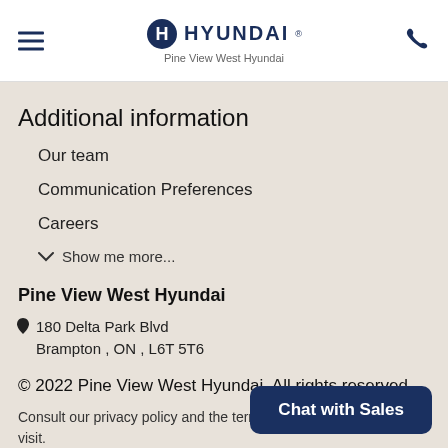Pine View West Hyundai
Additional information
Our team
Communication Preferences
Careers
Show me more...
Pine View West Hyundai
180 Delta Park Blvd
Brampton , ON , L6T 5T6
© 2022 Pine View West Hyundai. All rights reserved.
Consult our privacy policy and the terms and conditions of your visit.
Modify your commun
Chat with Sales